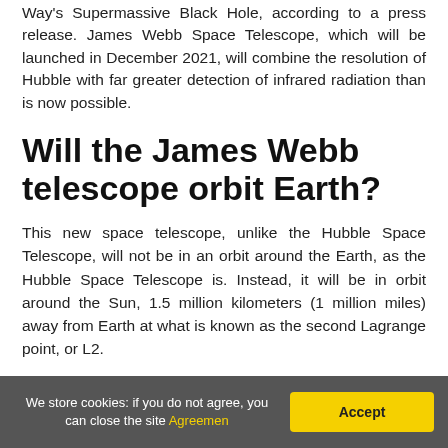Way's Supermassive Black Hole, according to a press release. James Webb Space Telescope, which will be launched in December 2021, will combine the resolution of Hubble with far greater detection of infrared radiation than is now possible.
Will the James Webb telescope orbit Earth?
This new space telescope, unlike the Hubble Space Telescope, will not be in an orbit around the Earth, as the Hubble Space Telescope is. Instead, it will be in orbit around the Sun, 1.5 million kilometers (1 million miles) away from Earth at what is known as the second Lagrange point, or L2.
We store cookies: if you do not agree, you can close the site Agreement